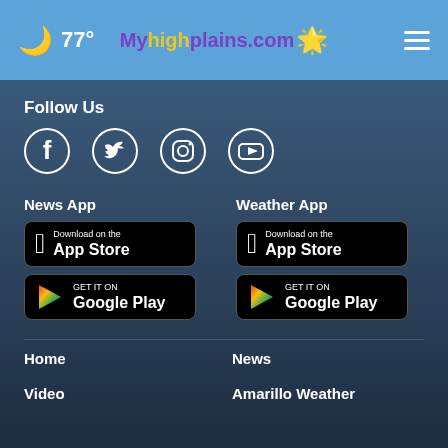🌙 77° | Myhighplains.com | ☰
Follow Us
[Figure (infographic): Social media icons: Facebook, Twitter, Instagram, YouTube]
News App
[Figure (infographic): Download on the App Store button]
[Figure (infographic): GET IT ON Google Play button]
Weather App
[Figure (infographic): Download on the App Store button]
[Figure (infographic): GET IT ON Google Play button]
Home
News
Video
Amarillo Weather